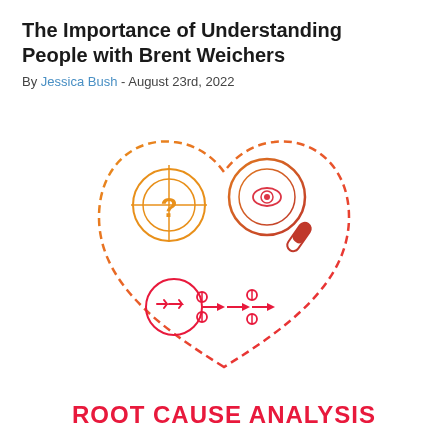The Importance of Understanding People with Brent Weichers
By Jessica Bush - August 23rd, 2022
[Figure (illustration): Root cause analysis concept illustration showing a question mark in a target/crosshair circle (orange), a magnifying glass with an eye (orange-red), and arrows/flow diagram symbols at the bottom (red), all enclosed in a dashed heart-like shape.]
ROOT CAUSE ANALYSIS